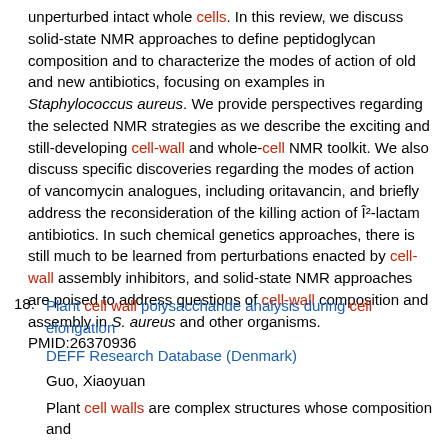unperturbed intact whole cells. In this review, we discuss solid-state NMR approaches to define peptidoglycan composition and to characterize the modes of action of old and new antibiotics, focusing on examples in Staphylococcus aureus. We provide perspectives regarding the selected NMR strategies as we describe the exciting and still-developing cell-wall and whole-cell NMR toolkit. We also discuss specific discoveries regarding the modes of action of vancomycin analogues, including oritavancin, and briefly address the reconsideration of the killing action of β²-lactam antibiotics. In such chemical genetics approaches, there is still much to be learned from perturbations enacted by cell-wall assembly inhibitors, and solid-state NMR approaches are poised to address questions of cell-wall composition and assembly in S. aureus and other organisms. PMID:26370936
18. Plant cell wall polysaccharide analysis during cell elongation
DEFF Research Database (Denmark)
Guo, Xiaoyuan
Plant cell walls are complex structures whose composition and